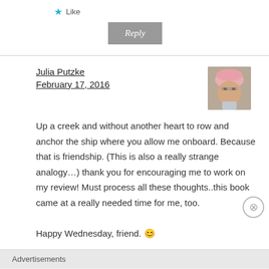★ Like
Reply
Julia Putzke
February 17, 2016
[Figure (photo): Avatar photo of Julia Putzke wearing a pink hat and glasses]
Up a creek and without another heart to row and anchor the ship where you allow me onboard. Because that is friendship. (This is also a really strange analogy...) thank you for encouraging me to work on my review! Must process all these thoughts..this book came at a really needed time for me, too.
Happy Wednesday, friend. 😊
Advertisements